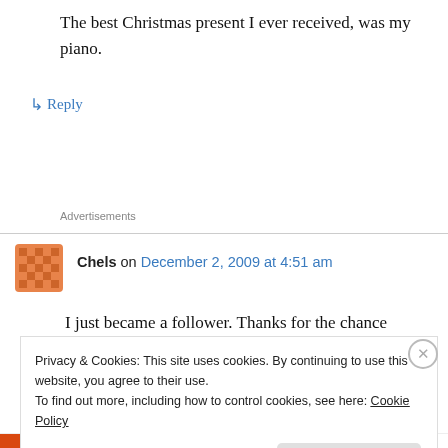The best Christmas present I ever received, was my piano.
↳ Reply
Advertisements
Chels on December 2, 2009 at 4:51 am
I just became a follower. Thanks for the chance
Privacy & Cookies: This site uses cookies. By continuing to use this website, you agree to their use.
To find out more, including how to control cookies, see here: Cookie Policy
Close and accept